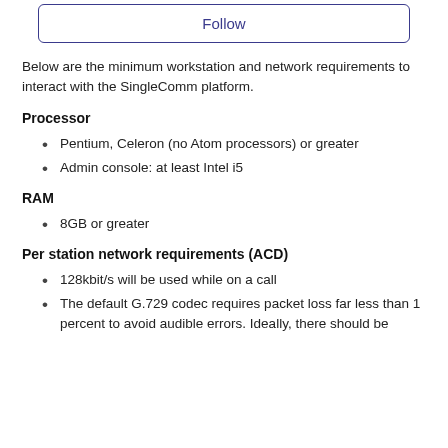[Figure (other): Follow button with rounded border, blue text 'Follow']
Below are the minimum workstation and network requirements to interact with the SingleComm platform.
Processor
Pentium, Celeron (no Atom processors) or greater
Admin console: at least Intel i5
RAM
8GB or greater
Per station network requirements (ACD)
128kbit/s will be used while on a call
The default G.729 codec requires packet loss far less than 1 percent to avoid audible errors. Ideally, there should be